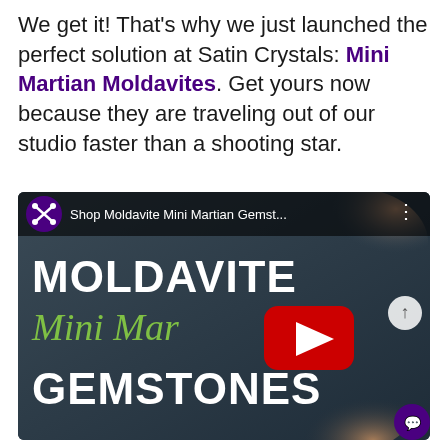We get it! That's why we just launched the perfect solution at Satin Crystals: Mini Martian Moldavites. Get yours now because they are traveling out of our studio faster than a shooting star.
[Figure (screenshot): YouTube video thumbnail for 'Shop Moldavite Mini Martian Gemst...' showing hands holding small moldavite crystals with overlay text MOLDAVITE Mini Martian GEMSTONES and a YouTube play button in the center.]